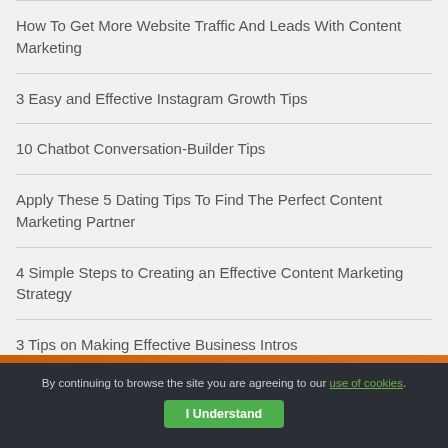How To Get More Website Traffic And Leads With Content Marketing
3 Easy and Effective Instagram Growth Tips
10 Chatbot Conversation-Builder Tips
Apply These 5 Dating Tips To Find The Perfect Content Marketing Partner
4 Simple Steps to Creating an Effective Content Marketing Strategy
3 Tips on Making Effective Business Intros
By continuing to browse the site you are agreeing to our use of cookies. I Understand